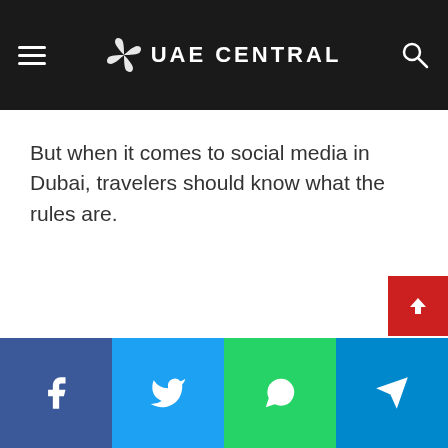UAE CENTRAL
But when it comes to social media in Dubai, travelers should know what the rules are.
Social share bar: Facebook, Twitter, WhatsApp, Telegram